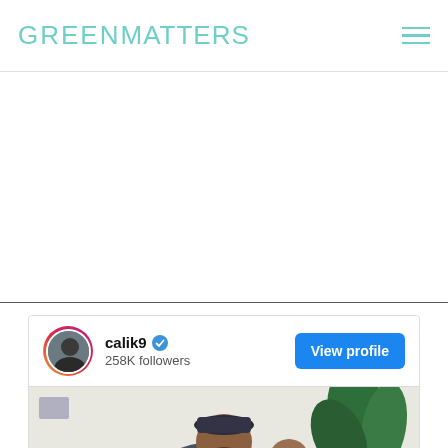GREENMATTERS
[Figure (photo): Green Matters website header with teal logo text and hamburger menu icon]
[Figure (screenshot): Instagram embed card showing calik9 profile with 258K followers, verified badge, View profile button, and a photo of a man smiling with a child and a plant in the background]